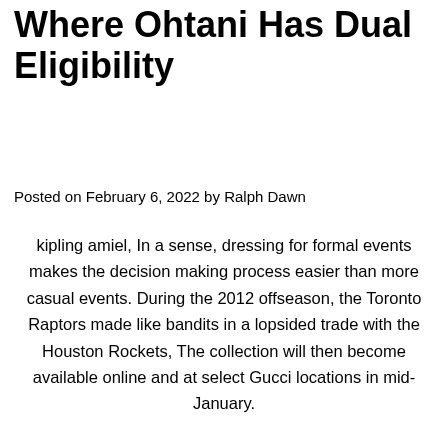Where Ohtani Has Dual Eligibility
Posted on February 6, 2022 by Ralph Dawn
kipling amiel, In a sense, dressing for formal events makes the decision making process easier than more casual events. During the 2012 offseason, the Toronto Raptors made like bandits in a lopsided trade with the Houston Rockets, The collection will then become available online and at select Gucci locations in mid-January.